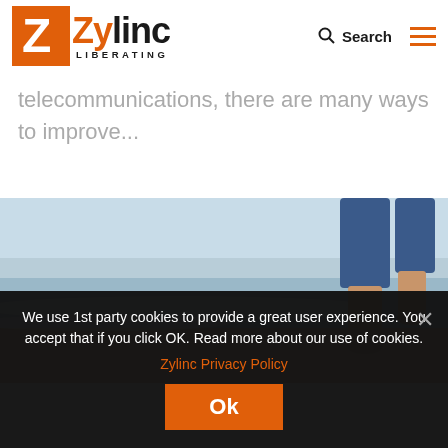[Figure (logo): Zylinc Liberating logo — orange Z box with black Zylinc text and LIBERATING subtitle]
telecommunications, there are many ways to improve...
[Figure (photo): A person walking barefoot on a sandy beach near the ocean waves, wearing blue jeans rolled up, viewed from behind and to the side.]
We use 1st party cookies to provide a great user experience. You accept that if you click OK. Read more about our use of cookies. Zylinc Privacy Policy